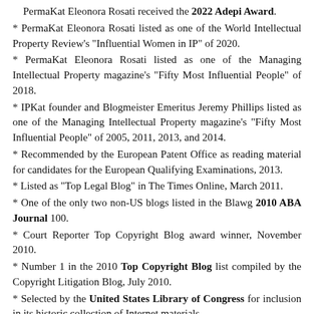PermaKat Eleonora Rosati received the 2022 Adepi Award.
PermaKat Eleonora Rosati listed as one of the World Intellectual Property Review's "Influential Women in IP" of 2020.
PermaKat Eleonora Rosati listed as one of the Managing Intellectual Property magazine's "Fifty Most Influential People" of 2018.
IPKat founder and Blogmeister Emeritus Jeremy Phillips listed as one of the Managing Intellectual Property magazine's "Fifty Most Influential People" of 2005, 2011, 2013, and 2014.
Recommended by the European Patent Office as reading material for candidates for the European Qualifying Examinations, 2013.
Listed as "Top Legal Blog" in The Times Online, March 2011.
One of the only two non-US blogs listed in the Blawg 2010 ABA Journal 100.
Court Reporter Top Copyright Blog award winner, November 2010.
Number 1 in the 2010 Top Copyright Blog list compiled by the Copyright Litigation Blog, July 2010.
Selected by the United States Library of Congress for inclusion in its historic collection of Internet materials.